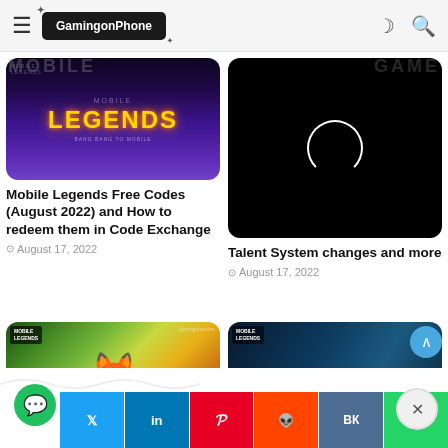GamingonPhone
[Figure (screenshot): Mobile Legends Bang Bang game thumbnail with LEGENDS text in gold on dark purple background]
Mobile Legends Free Codes (August 2022) and How to redeem them in Code Exchange
August 17, 2022
[Figure (screenshot): Black image with white loading circle]
Talent System changes and more
August 17, 2022
[Figure (screenshot): Mobile Legends Joy character artwork with fox-girl in forest setting]
ile Legends Joy: Here
[Figure (screenshot): Mobile Legends Fredrinn Hero Spotlight Rogue Appraiser artwork]
Mobile Legends Fredrinn